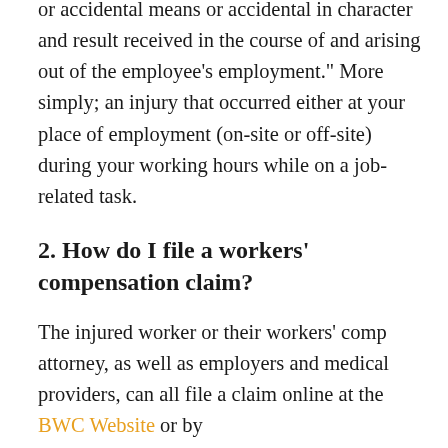or accidental means or accidental in character and result received in the course of and arising out of the employee's employment." More simply; an injury that occurred either at your place of employment (on-site or off-site) during your working hours while on a job-related task.
2. How do I file a workers' compensation claim?
The injured worker or their workers' comp attorney, as well as employers and medical providers, can all file a claim online at the BWC Website or by